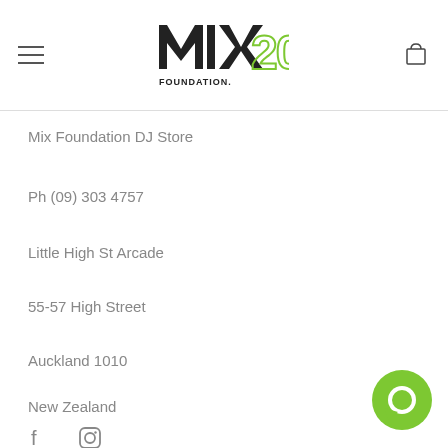[Figure (logo): Mix Foundation DJ Store logo with '20' anniversary mark in green and black]
Mix Foundation DJ Store
Ph (09) 303 4757
Little High St Arcade
55-57 High Street
Auckland 1010
New Zealand
[Figure (illustration): Facebook and Instagram social media icons]
[Figure (illustration): Green chat/message bubble icon in bottom right]